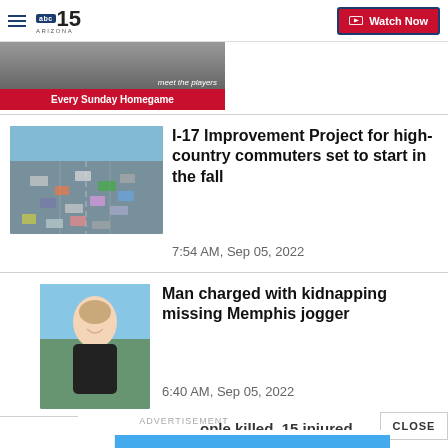ABC 15 Arizona — Watch Now
[Figure (screenshot): Red advertisement banner: 'Every Sunday Homegame']
[Figure (photo): Aerial view of a busy highway with many cars, representing I-17]
I-17 Improvement Project for high-country commuters set to start in the fall
7:54 AM, Sep 05, 2022
[Figure (photo): Portrait photo of a young woman smiling outdoors]
Man charged with kidnapping missing Memphis jogger
6:40 AM, Sep 05, 2022
CLOSE
ADVERTISEMENT
ople killed, 15 injured
[Figure (screenshot): American Furniture Warehouse Labor Day ad: LEATHER SOFA $996 $898 SAVE NOW]